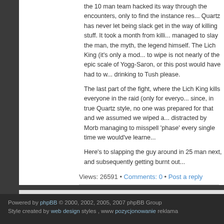the 10 man team hacked its way through the encounters, only to find the instance res... Quartz has never let being slack get in the way of killing stuff. It took a month from killi... managed to slay the man, the myth, the legend himself. The Lich King (it's only a mod... to wipe is not nearly of the epic scale of Yogg-Saron, or this post would have had to w... drinking to Tush please.
The last part of the fight, where the Lich King kills everyone in the raid (only for everyo... since, in true Quartz style, no one was prepared for that and we assumed we wiped a... distracted by Morb managing to misspell 'phase' every single time we would've learne...
Here's to slapping the guy around in 25 man next, and subsequently getting burnt ou...
Views: 26591 • Comments: 0 • Post a reply
Powered by phpBB © 2000, 2002, 2005, 2007 phpBB Group
Style created by web design styles , www pozycjonowanie reklama